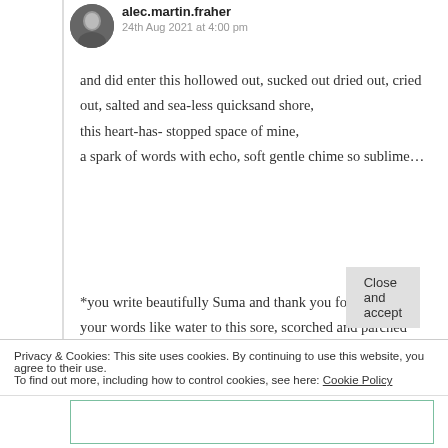alec.martin.fraher
24th Aug 2021 at 4:00 pm
and did enter this hollowed out, sucked out dried out, cried out, salted and sea-less quicksand shore,
this heart-has- stopped space of mine,
a spark of words with echo, soft gentle chime so sublime…
*you write beautifully Suma and thank you for bringing your words like water to this sore, scorched and parched shore.*
Privacy & Cookies: This site uses cookies. By continuing to use this website, you agree to their use.
To find out more, including how to control cookies, see here: Cookie Policy
Close and accept